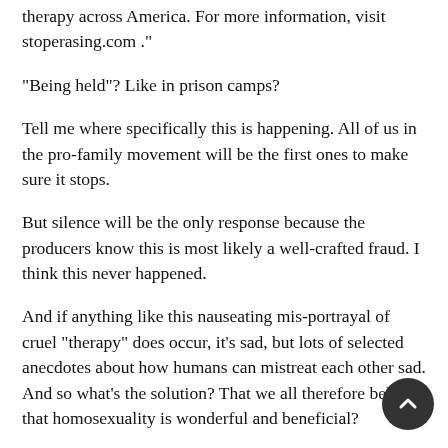therapy across America. For more information, visit stoperasing.com ."
“Being held”? Like in prison camps?
Tell me where specifically this is happening. All of us in the pro-family movement will be the first ones to make sure it stops.
But silence will be the only response because the producers know this is most likely a well-crafted fraud. I think this never happened.
And if anything like this nauseating mis-portrayal of cruel “therapy” does occur, it’s sad, but lots of selected anecdotes about how humans can mistreat each other sad. And so what’s the solution? That we all therefore believe that homosexuality is wonderful and beneficial?